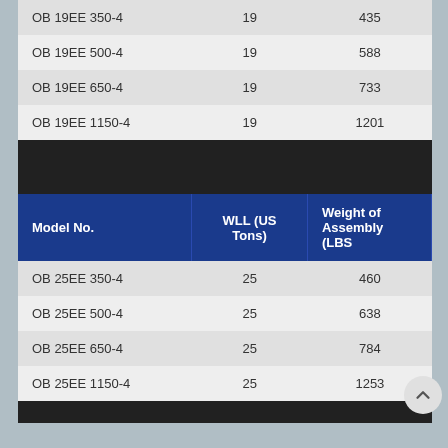| Model No. | WLL (US Tons) | Weight of Assembly (LBS) |
| --- | --- | --- |
| OB 19EE 350-4 | 19 | 435 |
| OB 19EE 500-4 | 19 | 588 |
| OB 19EE 650-4 | 19 | 733 |
| OB 19EE 1150-4 | 19 | 1201 |
| Model No. | WLL (US Tons) | Weight of Assembly (LBS) |
| --- | --- | --- |
| OB 25EE 350-4 | 25 | 460 |
| OB 25EE 500-4 | 25 | 638 |
| OB 25EE 650-4 | 25 | 784 |
| OB 25EE 1150-4 | 25 | 1253 |